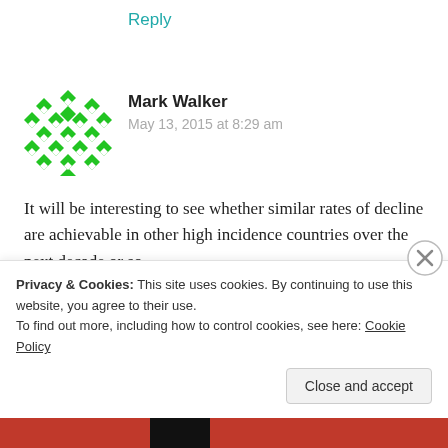Reply
Mark Walker
May 13, 2015 at 8:29 am
It will be interesting to see whether similar rates of decline are achievable in other high incidence countries over the next decade or so.
★ Like
Privacy & Cookies: This site uses cookies. By continuing to use this website, you agree to their use.
To find out more, including how to control cookies, see here: Cookie Policy
Close and accept